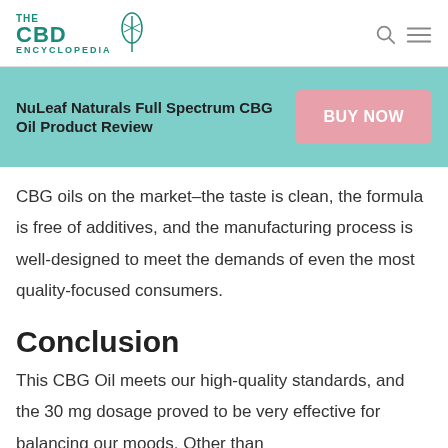THE CBD ENCYCLOPEDIA
NuLeaf Naturals Full Spectrum CBG Oil Product Review
CBG oils on the market–the taste is clean, the formula is free of additives, and the manufacturing process is well-designed to meet the demands of even the most quality-focused consumers.
Conclusion
This CBG Oil meets our high-quality standards, and the 30 mg dosage proved to be very effective for balancing our moods. Other than